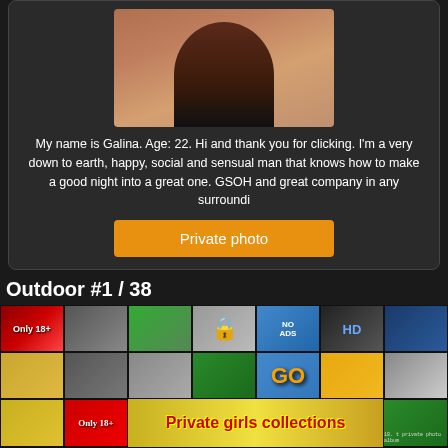[Figure (photo): Profile photo of a person from behind]
My name is Galina. Age: 22. Hi and thank you for clicking. I'm a very down to earth, happy, social and sensual man that knows how to make a good night into a great one. GSOH and great company in any surroundi
Private photo
Outdoor #1 / 38
[Figure (screenshot): Grid of adult content thumbnail images with overlays including 'Only 18+', lock icons, 'NO ADS', 'HD', 'GO', and 'Private girls collections' banner]